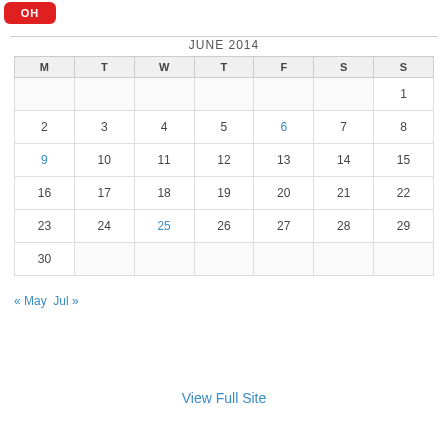[Figure (logo): Red rounded rectangle logo with white text 'OH']
| M | T | W | T | F | S | S |
| --- | --- | --- | --- | --- | --- | --- |
|  |  |  |  |  |  | 1 |
| 2 | 3 | 4 | 5 | 6 | 7 | 8 |
| 9 | 10 | 11 | 12 | 13 | 14 | 15 |
| 16 | 17 | 18 | 19 | 20 | 21 | 22 |
| 23 | 24 | 25 | 26 | 27 | 28 | 29 |
| 30 |  |  |  |  |  |  |
« May   Jul »
View Full Site